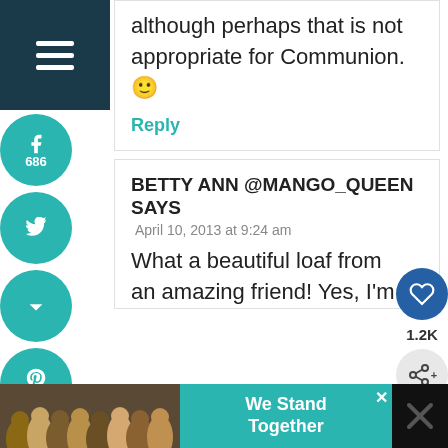[Figure (screenshot): Social media share sidebar with menu button (hamburger), Facebook (686), Twitter, Pocket, Pinterest (461), Yummly, and Email buttons as teal circles on the left side of the page]
although perhaps that is not appropriate for Communion. 🙂
Reply
BETTY ANN @MANGO_QUEEN SAYS
April 10, 2013 at 9:24 am
What a beautiful loaf from an amazing friend! Yes, I'm
1.2K
WHAT'S NEXT → Cornish Saffron East...
[Figure (photo): Advertisement banner at the bottom: people with arms around each other, teal background with text 'We Stand Together', and close/X buttons]